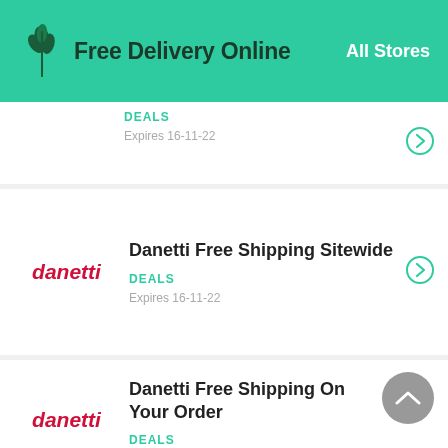Free Delivery Online — All Stores
DEALS
Expires 16-11-22
Danetti Free Shipping Sitewide
DEALS
Expires 16-11-22
Danetti Free Shipping On Your Order
DEALS